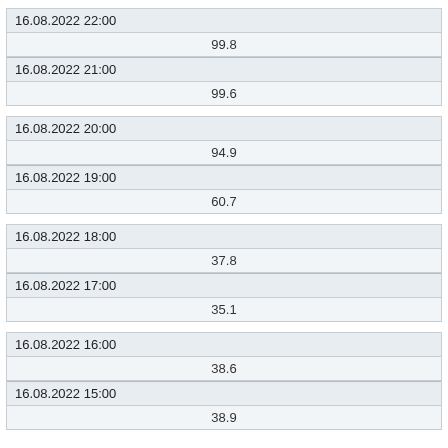| 16.08.2022 22:00 | 99.8 |
| 16.08.2022 21:00 | 99.6 |
| 16.08.2022 20:00 | 94.9 |
| 16.08.2022 19:00 | 60.7 |
| 16.08.2022 18:00 | 37.8 |
| 16.08.2022 17:00 | 35.1 |
| 16.08.2022 16:00 | 38.6 |
| 16.08.2022 15:00 | 38.9 |